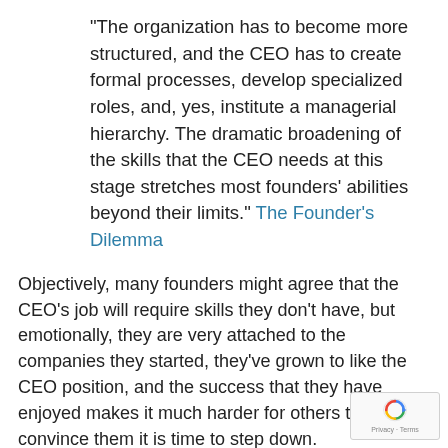“The organization has to become more structured, and the CEO has to create formal processes, develop specialized roles, and, yes, institute a managerial hierarchy. The dramatic broadening of the skills that the CEO needs at this stage stretches most founders’ abilities beyond their limits.” The Founder’s Dilemma
Objectively, many founders might agree that the CEO’s job will require skills they don’t have, but emotionally, they are very attached to the companies they started, they’ve grown to like the CEO position, and the success that they have enjoyed makes it much harder for others to convince them it is time to step down.
However, it is precisely their success that has increased the need to replace them at this point.